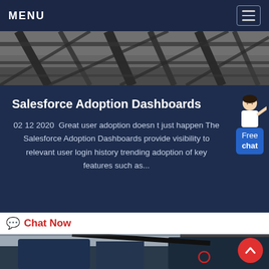MENU
[Figure (photo): Industrial steel structure/scaffolding photographed from below against a grey sky — top banner image]
Salesforce Adoption Dashboards
02 12 2020  Great user adoption doesn t just happen The Salesforce Adoption Dashboards provide visibility to relevant user login history trending adoption of key features such as...
[Figure (illustration): Female customer service representative figure with Free chat blue chat-bubble widget in the top-right of the card]
💬 Chat Now
[Figure (photo): Industrial machinery/equipment photographed outdoors — bottom image]